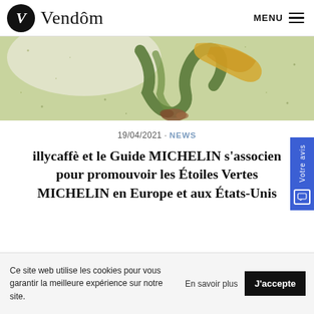Vendôm
[Figure (photo): Close-up food photo showing green herb-dusted swirl or coil pastry with yellow tuile and brown crumble elements on a speckled green background]
19/04/2021 • NEWS
illycaffè et le Guide MICHELIN s'associen pour promouvoir les Étoiles Vertes MICHELIN en Europe et aux États-Unis
Ce site web utilise les cookies pour vous garantir la meilleure expérience sur notre site.